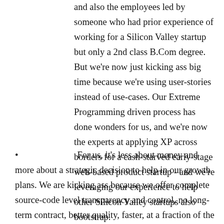and also the employees led by someone who had prior experience of working for a Silicon Valley startup but only a 2nd class B.Com degree. But we're now just kicking ass big time because we're using user-stories instead of use-cases. Our Extreme Programming driven process has done wonders for us, and we're now the experts at applying XP across borders for a cash-starved early-stage web-based product startup - and we're leveraging our experience to help other Silicon Valley startups also bootstrap.
For us, it's less about money and more about a strategic decision to help in our growth plans. We are kicking ass because we offer complete source-code level transparency and control, no long-term contract, better quality, faster, at a fraction of the